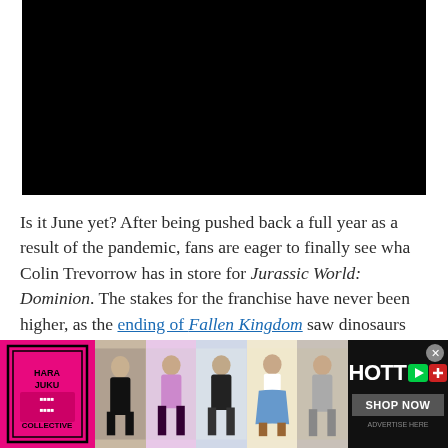[Figure (photo): Black image/video thumbnail at the top of the article]
Is it June yet? After being pushed back a full year as a result of the pandemic, fans are eager to finally see wha Colin Trevorrow has in store for Jurassic World: Dominion. The stakes for the franchise have never been higher, as the ending of Fallen Kingdom saw dinosaurs released on the mainland. There's no telling what destruction and chaos have followed, so it's going to be an all hands on deck situation to somehow wrangle the resurrected creatures.
[Figure (advertisement): Harajuku Collective fashion advertisement banner with multiple fashion models and HOTT logo with SHOP NOW button]